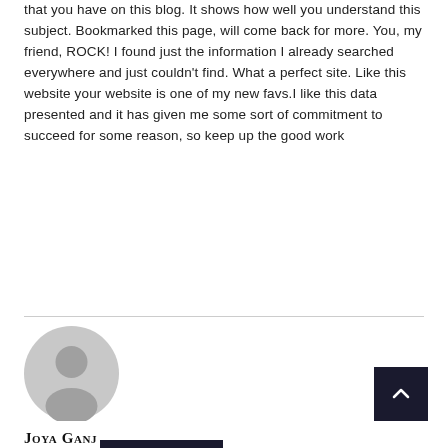that you have on this blog. It shows how well you understand this subject. Bookmarked this page, will come back for more. You, my friend, ROCK! I found just the information I already searched everywhere and just couldn't find. What a perfect site. Like this website your website is one of my new favs.I like this data presented and it has given me some sort of commitment to succeed for some reason, so keep up the good work
Reply
[Figure (illustration): Generic user avatar icon — circular grey silhouette of a person on white background]
Joya Ganj